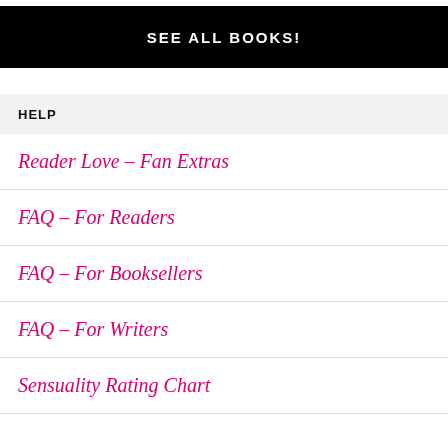SEE ALL BOOKS!
HELP
Reader Love – Fan Extras
FAQ – For Readers
FAQ – For Booksellers
FAQ – For Writers
Sensuality Rating Chart